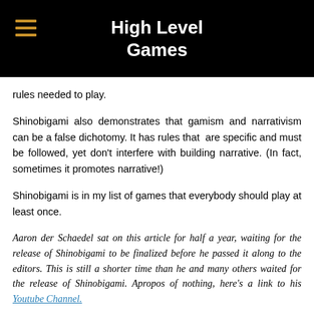High Level Games
rules needed to play.
Shinobigami also demonstrates that gamism and narrativism can be a false dichotomy. It has rules that are specific and must be followed, yet don't interfere with building narrative. (In fact, sometimes it promotes narrative!)
Shinobigami is in my list of games that everybody should play at least once.
Aaron der Schaedel sat on this article for half a year, waiting for the release of Shinobigami to be finalized before he passed it along to the editors. This is still a shorter time than he and many others waited for the release of Shinobigami. Apropos of nothing, here's a link to his Youtube Channel.